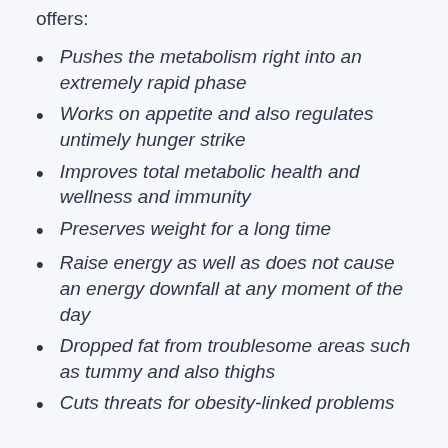offers:
Pushes the metabolism right into an extremely rapid phase
Works on appetite and also regulates untimely hunger strike
Improves total metabolic health and wellness and immunity
Preserves weight for a long time
Raise energy as well as does not cause an energy downfall at any moment of the day
Dropped fat from troublesome areas such as tummy and also thighs
Cuts threats for obesity-linked problems
Though specific results may vary, making use of a tea mix is no doubt the most convenient means to